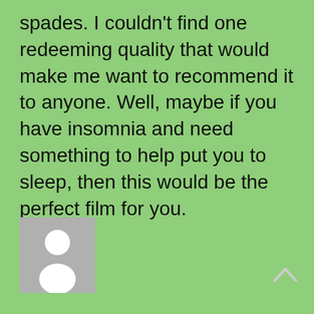spades. I couldn't find one redeeming quality that would make me want to recommend it to anyone. Well, maybe if you have insomnia and need something to help put you to sleep, then this would be the perfect film for you.
[Figure (illustration): Generic user avatar placeholder — grey square with white silhouette of a person]